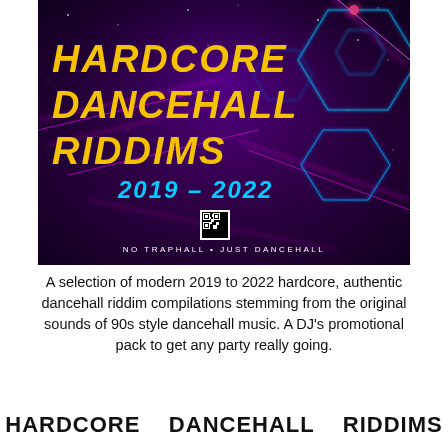[Figure (illustration): Album cover for 'Hardcore Dancehall Riddims 2019-2022'. Purple/dark space background with neon blue hexagon wireframe shapes, magenta lightning/energy streaks. Large yellow bold italic text reads 'HARDCORE DANCEHALL RIDDIMS', cyan italic text reads '2019 – 2022', a small QR code in center, and white text 'NO TRAPHALL • JUST DANCEHALL' at bottom.]
A selection of modern 2019 to 2022 hardcore, authentic dancehall riddim compilations stemming from the original sounds of 90s style dancehall music. A DJ's promotional pack to get any party really going.
HARDCORE   DANCEHALL   RIDDIMS